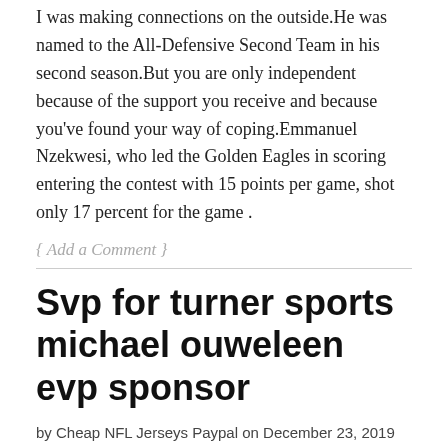I was making connections on the outside.He was named to the All-Defensive Second Team in his second season.But you are only independent because of the support you receive and because you've found your way of coping.Emmanuel Nzekwesi, who led the Golden Eagles in scoring entering the contest with 15 points per game, shot only 17 percent for the game .
{ Add a Comment }
Svp for turner sports michael ouweleen evp sponsor
by Cheap NFL Jerseys Paypal on December 23, 2019